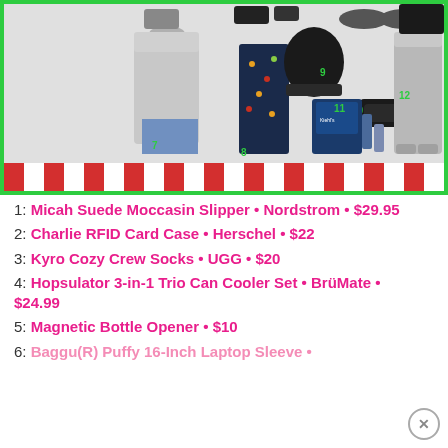[Figure (photo): Holiday gift guide collage showing clothing items and accessories numbered 7-12, including a gray sweatshirt (7), floral pajama pants (8), black beanie hat (9), dark socks (10), Kiehl's skincare gift set (11), and gray jogger pants (12). Bottom border has red and white candy stripes with green frame.]
1: Micah Suede Moccasin Slipper • Nordstrom • $29.95
2: Charlie RFID Card Case • Herschel • $22
3: Kyro Cozy Crew Socks • UGG • $20
4: Hopsulator 3-in-1 Trio Can Cooler Set • BrüMate • $24.99
5: Magnetic Bottle Opener • $10
6: Baggu(R) Puffy 16-Inch Laptop Sleeve •